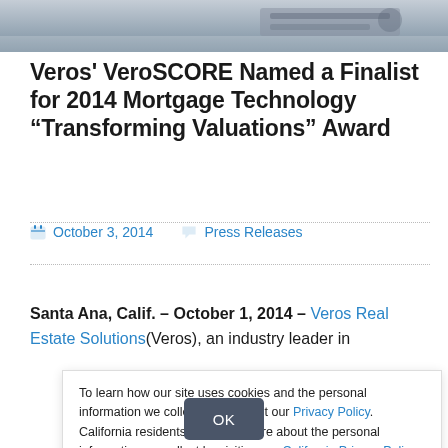[Figure (photo): Partial photo strip at top of page showing a keyboard/desk scene]
Veros' VeroSCORE Named a Finalist for 2014 Mortgage Technology “Transforming Valuations” Award
October 3, 2014   Press Releases
Santa Ana, Calif. – October 1, 2014 – Veros Real Estate Solutions(Veros), an industry leader in
To learn how our site uses cookies and the personal information we collect, please visit our Privacy Policy. California residents can learn more about the personal information we collect by visiting our California Privacy Policy.